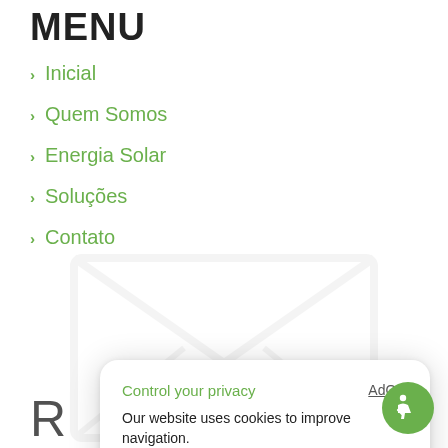MENU
Inicial
Quem Somos
Energia Solar
Soluções
Contato
[Figure (screenshot): Cookie consent dialog with 'Control your privacy' heading, AdOpt link, cookie usage text, Privacy Policy and My options links, and DO NOT SELL and ACCEPT buttons]
[Figure (illustration): Light grey envelope watermark in background]
[Figure (illustration): Green circular badge with accessibility icon (wheelchair/person symbol) in bottom right corner]